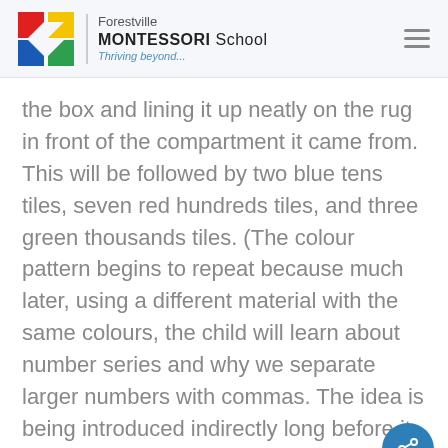Forestville MONTESSORI School — Thriving beyond...
the box and lining it up neatly on the rug in front of the compartment it came from. This will be followed by two blue tens tiles, seven red hundreds tiles, and three green thousands tiles. (The colour pattern begins to repeat because much later, using a different material with the same colours, the child will learn about number series and why we separate larger numbers with commas. The idea is being introduced indirectly long before it is